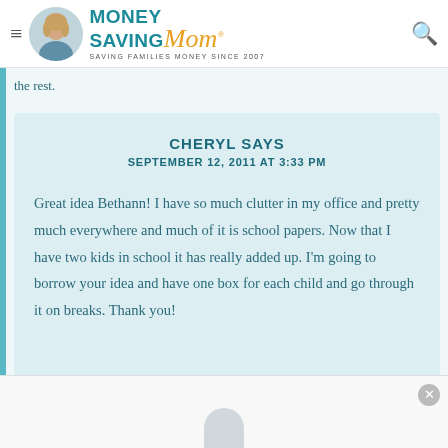Money Saving Mom® — SAVING FAMILIES MONEY SINCE 2007
the rest.
CHERYL SAYS
SEPTEMBER 12, 2011 AT 3:33 PM
Great idea Bethann! I have so much clutter in my office and pretty much everywhere and much of it is school papers. Now that I have two kids in school it has really added up. I'm going to borrow your idea and have one box for each child and go through it on breaks. Thank you!